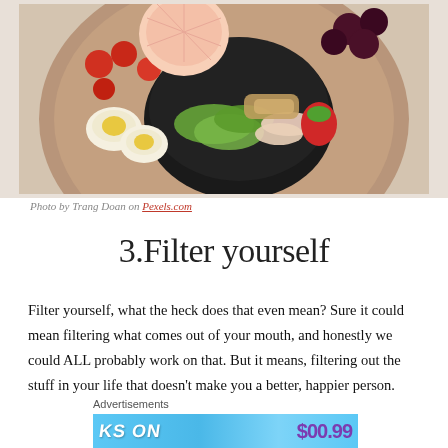[Figure (photo): Overhead view of a wooden board with a black bowl containing salad with avocado, chicken, apple slices, and eggs. Surrounding the bowl are cherry tomatoes, grapefruit slices, and dark cherries.]
Photo by Trang Doan on Pexels.com
3.Filter yourself
Filter yourself, what the heck does that even mean? Sure it could mean filtering what comes out of your mouth, and honestly we could ALL probably work on that. But it means, filtering out the stuff in your life that doesn't make you a better, happier person.
Advertisements
[Figure (other): Partial advertisement banner with blue background, white text 'KS ON' and purple price '$00.99']